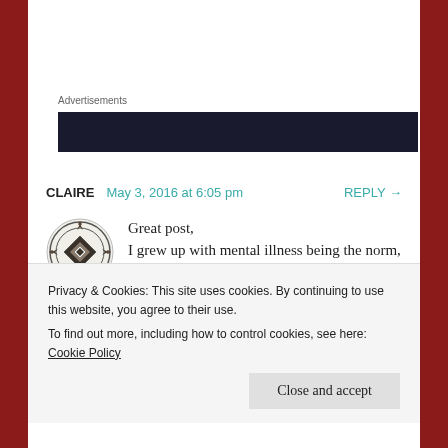Advertisements
[Figure (other): Dark advertisement banner block]
CLAIRE   May 3, 2016 at 6:05 pm   REPLY →
[Figure (illustration): User avatar: decorative geometric pattern in black and white]
Great post,
I grew up with mental illness being the norm, my mum has bi polar. It is a very destructive illness for both the sufferer and
Privacy & Cookies: This site uses cookies. By continuing to use this website, you agree to their use.
To find out more, including how to control cookies, see here: Cookie Policy
Close and accept